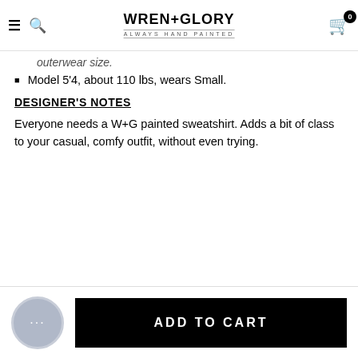WREN+GLORY — ALWAYS HAND PAINTED
outerwear size.
Model 5'4, about 110 lbs, wears Small.
DESIGNER'S NOTES
Everyone needs a W+G painted sweatshirt. Adds a bit of class to your casual, comfy outfit, without even trying.
CARE
SHIPPING / RETURNS
ADD TO CART